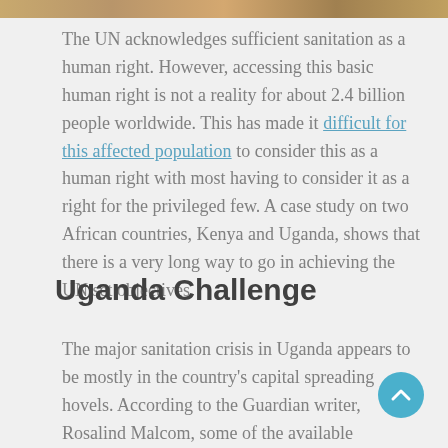[Figure (photo): Image strip at top of page showing an outdoor scene with earth tones]
The UN acknowledges sufficient sanitation as a human right. However, accessing this basic human right is not a reality for about 2.4 billion people worldwide. This has made it difficult for this affected population to consider this as a human right with most having to consider it as a right for the privileged few. A case study on two African countries, Kenya and Uganda, shows that there is a very long way to go in achieving the UN set objectives.
Uganda Challenge
The major sanitation crisis in Uganda appears to be mostly in the country's capital spreading hovels. According to the Guardian writer, Rosalind Malcom, some of the available sanitation services are provided by NGOs Thus, the poor slum-dwellers are expected to pay the